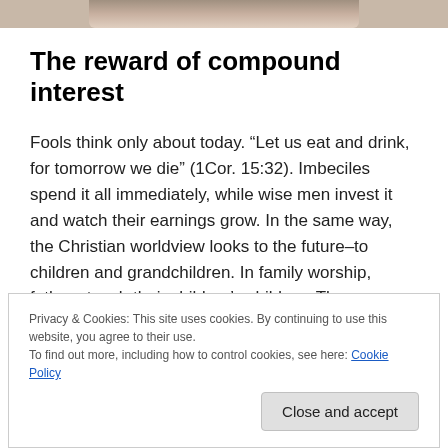[Figure (photo): Partial view of a photo strip at the top of the page showing people, cropped]
The reward of compound interest
Fools think only about today. “Let us eat and drink, for tomorrow we die” (1Cor. 15:32). Imbeciles spend it all immediately, while wise men invest it and watch their earnings grow. In the same way, the Christian worldview looks to the future–to children and grandchildren. In family worship, fathers teach their children’s children. The
Privacy & Cookies: This site uses cookies. By continuing to use this website, you agree to their use.
To find out more, including how to control cookies, see here: Cookie Policy
Close and accept